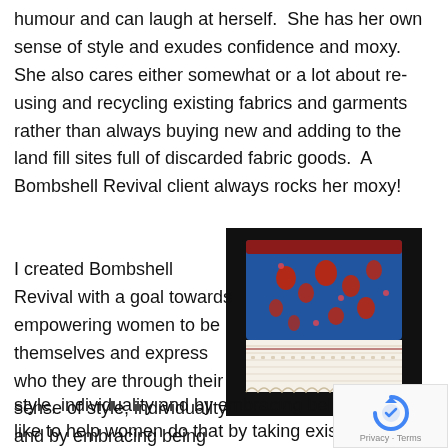humour and can laugh at herself. She has her own sense of style and exudes confidence and moxy. She also cares either somewhat or a lot about re-using and recycling existing fabrics and garments rather than always buying new and adding to the land fill sites full of discarded fabric goods. A Bombshell Revival client always rocks her moxy!
[Figure (photo): Photo of a blue floral skirt with red flowers and a white lace trim at the bottom, against a black background.]
I created Bombshell Revival with a goal towards empowering women to be themselves and express who they are through their sense of style, individuality and by embracing being female. like to help women do that by taking existing